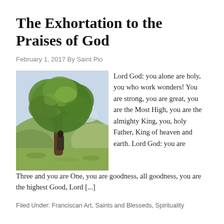The Exhortation to the Praises of God
February 1, 2017 By Saint Pio
[Figure (illustration): Painting of a large tree with a figure in robes standing beneath it in a pastoral landscape with green hills and blue sky.]
Lord God: you alone are holy, you who work wonders! You are strong, you are great, you are the Most High, you are the almighty King, you, holy Father, King of heaven and earth. Lord God: you are Three and you are One, you are goodness, all goodness, you are the highest Good, Lord [...]
Filed Under: Franciscan Art, Saints and Blesseds, Spirituality